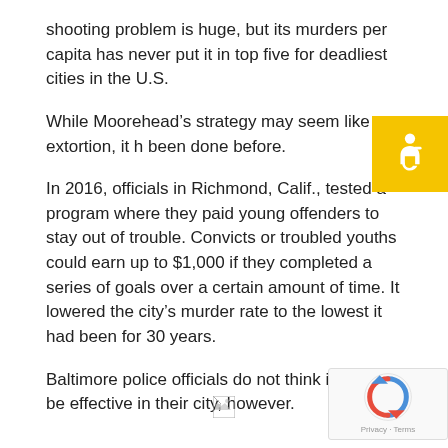shooting problem is huge, but its murders per capita has never put it in top five for deadliest cities in the U.S.
While Moorehead’s strategy may seem like extortion, it h been done before.
In 2016, officials in Richmond, Calif., tested a program where they paid young offenders to stay out of trouble. Convicts or troubled youths could earn up to $1,000 if they completed a series of goals over a certain amount of time. It lowered the city’s murder rate to the lowest it had been for 30 years.
Baltimore police officials do not think it would be effective in their city, however.
[Figure (logo): Accessibility icon - white wheelchair symbol on yellow background]
[Figure (other): Broken image placeholder]
[Figure (other): reCAPTCHA widget with Privacy and Terms links]